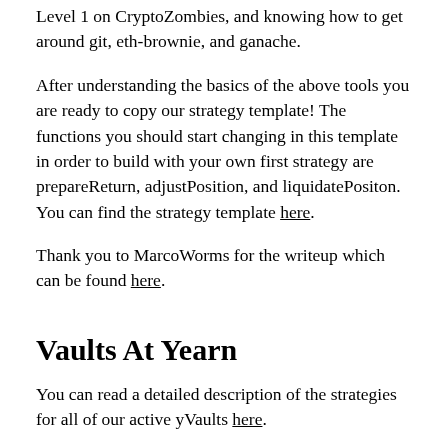Level 1 on CryptoZombies, and knowing how to get around git, eth-brownie, and ganache.
After understanding the basics of the above tools you are ready to copy our strategy template! The functions you should start changing in this template in order to build with your own first strategy are prepareReturn, adjustPosition, and liquidatePositon. You can find the strategy template here.
Thank you to MarcoWorms for the writeup which can be found here.
Vaults At Yearn
You can read a detailed description of the strategies for all of our active yVaults here.